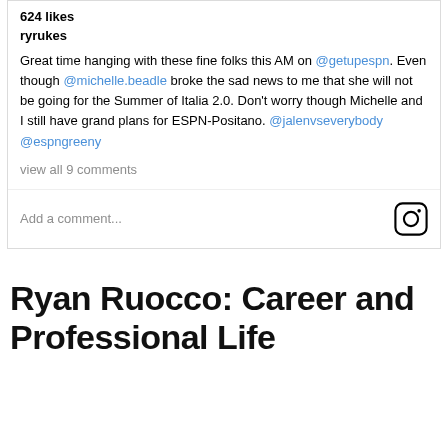624 likes
ryrukes
Great time hanging with these fine folks this AM on @getupespn. Even though @michelle.beadle broke the sad news to me that she will not be going for the Summer of Italia 2.0. Don't worry though Michelle and I still have grand plans for ESPN-Positano. @jalenvseverybody @espngreeny
view all 9 comments
Add a comment...
Ryan Ruocco: Career and Professional Life